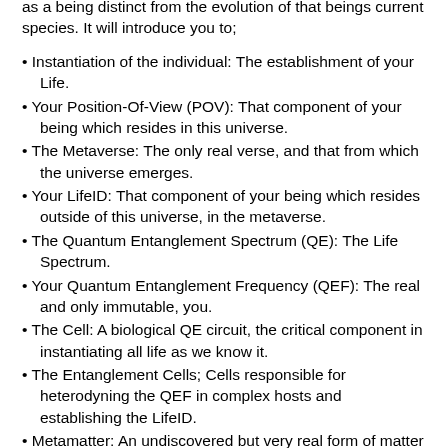as a being distinct from the evolution of that beings current species. It will introduce you to;
Instantiation of the individual: The establishment of your Life.
Your Position-Of-View (POV): That component of your being which resides in this universe.
The Metaverse: The only real verse, and that from which the universe emerges.
Your LifeID: That component of your being which resides outside of this universe, in the metaverse.
The Quantum Entanglement Spectrum (QE): The Life Spectrum.
Your Quantum Entanglement Frequency (QEF): The real and only immutable, you.
The Cell: A biological QE circuit, the critical component in instantiating all life as we know it.
The Entanglement Cells; Cells responsible for heterodyning the QEF in complex hosts and establishing the LifeID.
Metamatter: An undiscovered but very real form of matter critical in instantiating and in the evolution of all life. Think dark matter without gravity.
Entanglement Molecules; Molecules in every living cell which establish